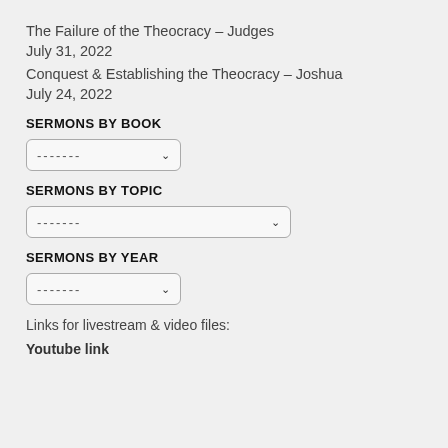The Failure of the Theocracy – Judges
July 31, 2022
Conquest & Establishing the Theocracy – Joshua
July 24, 2022
SERMONS BY BOOK
[Figure (other): Dropdown selector with dashes and chevron, labeled for Sermons by Book]
SERMONS BY TOPIC
[Figure (other): Dropdown selector with dashes and chevron, labeled for Sermons by Topic]
SERMONS BY YEAR
[Figure (other): Dropdown selector with dashes and chevron, labeled for Sermons by Year]
Links for livestream & video files:
Youtube link